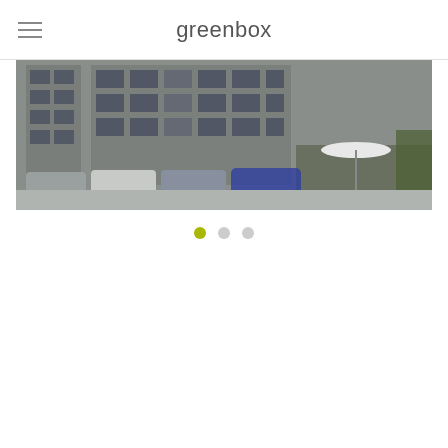greenbox
[Figure (photo): Photograph of a multi-story office building facade with parked cars in front, street level view]
[Figure (infographic): Slideshow navigation dots: one active yellow-green dot and two inactive gray dots]
[Figure (photo): Photograph of a yellow residential building with rooftop dormer windows against a partly cloudy sky, with 'greenbox MITTE' text overlay]